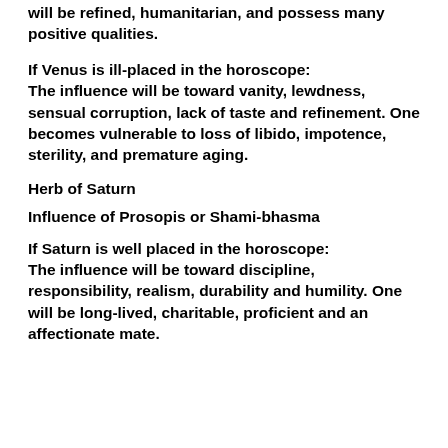will be refined, humanitarian, and possess many positive qualities.
If Venus is ill-placed in the horoscope: The influence will be toward vanity, lewdness, sensual corruption, lack of taste and refinement. One becomes vulnerable to loss of libido, impotence, sterility, and premature aging.
Herb of Saturn
Influence of Prosopis or Shami-bhasma
If Saturn is well placed in the horoscope: The influence will be toward discipline, responsibility, realism, durability and humility. One will be long-lived, charitable, proficient and an affectionate mate.